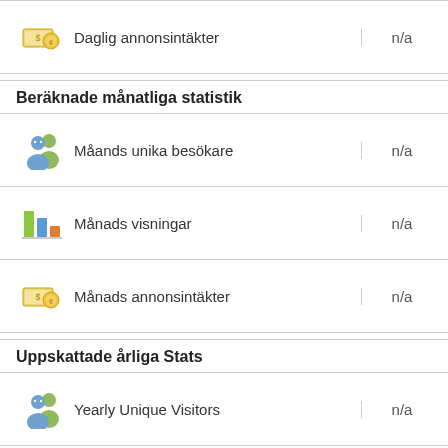| Icon | Label | Value |
| --- | --- | --- |
| [money icon] | Daglig annonsintäkter | n/a |
Beräknade månatliga statistik
| Icon | Label | Value |
| --- | --- | --- |
| [visitors icon] | Måands unika besökare | n/a |
| [bar chart icon] | Månads visningar | n/a |
| [money icon] | Månads annonsintäkter | n/a |
Uppskattade årliga Stats
| Icon | Label | Value |
| --- | --- | --- |
| [visitors icon] | Yearly Unique Visitors | n/a |
| [bar chart icon] | Yearly Pageviews | n/a |